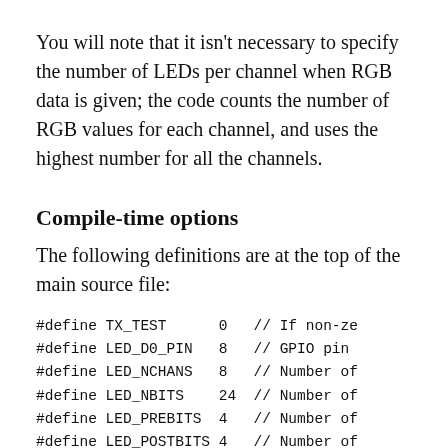You will note that it isn't necessary to specify the number of LEDs per channel when RGB data is given; the code counts the number of RGB values for each channel, and uses the highest number for all the channels.
Compile-time options
The following definitions are at the top of the main source file:
#define TX_TEST      0    // If non-ze
#define LED_D0_PIN   8    // GPIO pin
#define LED_NCHANS   8    // Number of
#define LED_NBITS    24   // Number of
#define LED_PREBITS  4    // Number of
#define LED_POSTBITS 4    // Number of
#define BIT_NPULSES  3    // Number of